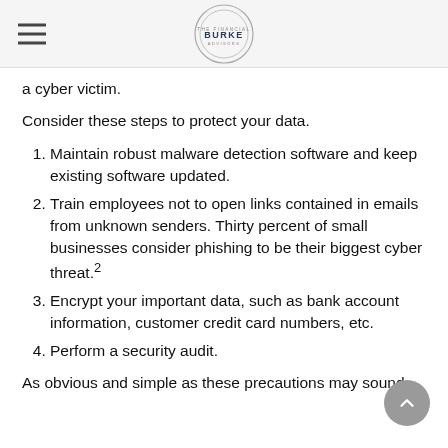BURKE
a cyber victim.
Consider these steps to protect your data.
Maintain robust malware detection software and keep existing software updated.
Train employees not to open links contained in emails from unknown senders. Thirty percent of small businesses consider phishing to be their biggest cyber threat.²
Encrypt your important data, such as bank account information, customer credit card numbers, etc.
Perform a security audit.
As obvious and simple as these precautions may sound,